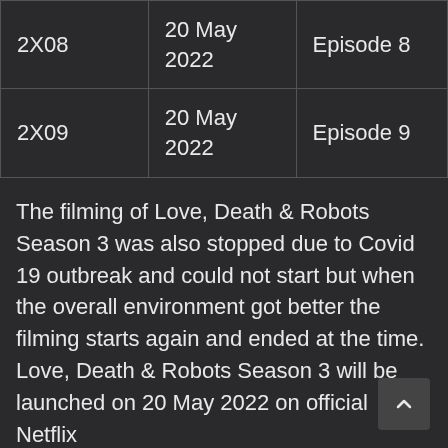| 2X08 | 20 May
2022 | Episode 8 |
| 2X09 | 20 May
2022 | Episode 9 |
The filming of Love, Death & Robots Season 3 was also stopped due to Covid 19 outbreak and could not start but when the overall environment got better the filming starts again and ended at the time. Love, Death & Robots Season 3 will be launched on 20 May 2022 on official Netflix